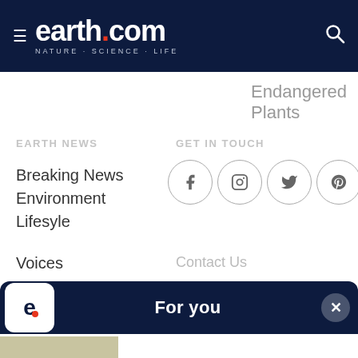earth.com · NATURE · SCIENCE · LIFE
Endangered Plants
EARTH NEWS
GET IN TOUCH
Breaking News
Environment
Lifesyle
Voices
[Figure (other): Social media icons: Facebook, Instagram, Twitter, Pinterest in circular outlines]
Contact Us
For you
[Figure (photo): Person relaxing in a hammock wearing a hat, viewed from above on grass]
"Brain thermometer" explains why heat makes us feel sleepy